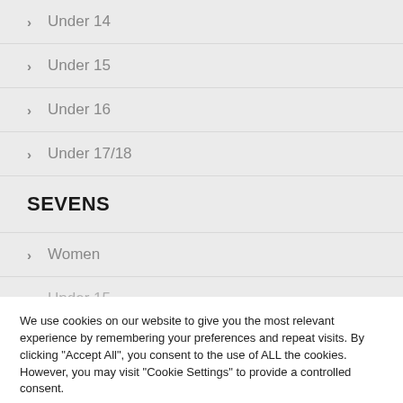Under 14
Under 15
Under 16
Under 17/18
SEVENS
Women
Under 15
We use cookies on our website to give you the most relevant experience by remembering your preferences and repeat visits. By clicking “Accept All”, you consent to the use of ALL the cookies. However, you may visit "Cookie Settings" to provide a controlled consent.
Cookie Settings | Accept All